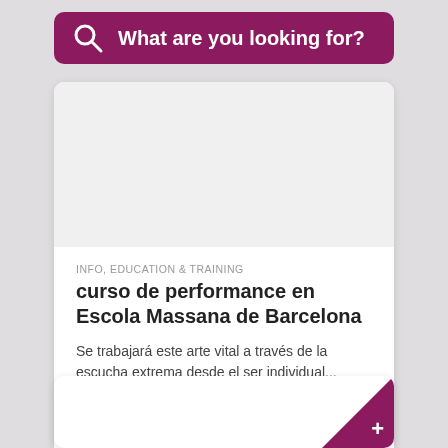What are you looking for?
INFO, EDUCATION & TRAINING
curso de performance en Escola Massana de Barcelona
Se trabajará este arte vital a través de la escucha extrema desde el ser individual...
Deadline 05/09/2022
[Figure (other): Second card placeholder with purple plus corner]